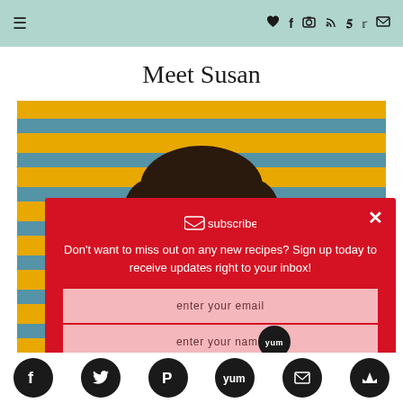☰  ♥ f ☷ ⊗ ℗ 𝕥 ✉
Meet Susan
[Figure (photo): A woman with dark curly hair and glasses, wearing a red top and colorful floral scarf, smiling in front of a yellow and blue striped metal shutter background.]
Don't want to miss out on any new recipes? Sign up today to receive updates right to your inbox!
[Figure (other): subscribe icon/image]
enter your email
enter your name